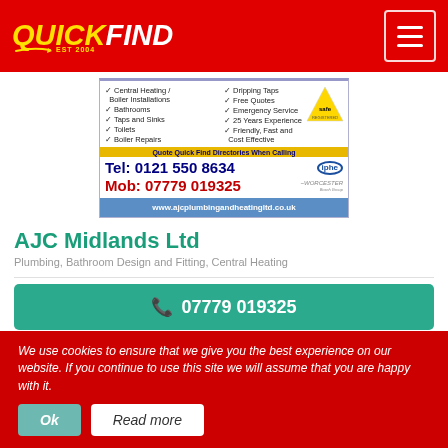QUICKFIND EST 2004
[Figure (infographic): AJC Plumbing and Heating advertisement with services list, telephone numbers, Gas Safe logo, IPHE logo, Worcester logo, and website URL. Services: Central Heating / Boiler Installations, Bathrooms, Taps and Sinks, Toilets, Boiler Repairs, Dripping Taps, Free Quotes, Emergency Service, 25 Years Experience, Friendly, Fast and Cost Effective. Tel: 0121 550 8634, Mob: 07779 019325, www.ajcplumbingandheatingltd.co.uk]
AJC Midlands Ltd
Plumbing, Bathroom Design and Fitting, Central Heating
07779 019325
We use cookies to ensure that we give you the best experience on our website. If you continue to use this site we will assume that you are happy with it.
Ok
Read more